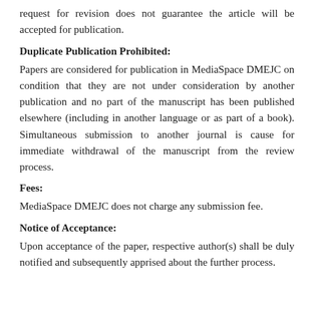request for revision does not guarantee the article will be accepted for publication.
Duplicate Publication Prohibited:
Papers are considered for publication in MediaSpace DMEJC on condition that they are not under consideration by another publication and no part of the manuscript has been published elsewhere (including in another language or as part of a book). Simultaneous submission to another journal is cause for immediate withdrawal of the manuscript from the review process.
Fees:
MediaSpace DMEJC does not charge any submission fee.
Notice of Acceptance:
Upon acceptance of the paper, respective author(s) shall be duly notified and subsequently apprised about the further process.